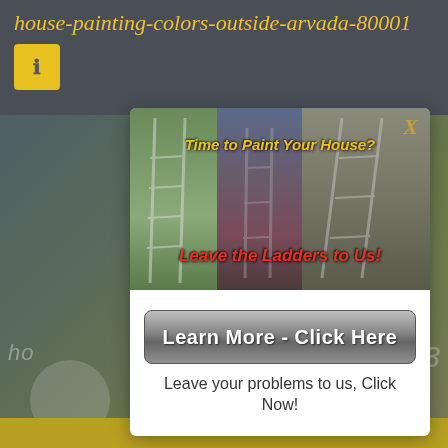house-painting-colors-outside-arvada-80001
[Figure (screenshot): A popup/modal advertisement overlay on a webpage background. The modal shows three composite images of house painters on ladders, with text 'Time to Paint Your House?' and 'Leave the Ladders to Us!' overlaid. Below is a dark gradient button labeled 'Learn More - Click Here' and a call-to-action text 'Leave your problems to us, Click Now!']
Time to Paint Your House?
Leave the Ladders to Us!
Learn More - Click Here
Leave your problems to us, Click Now!